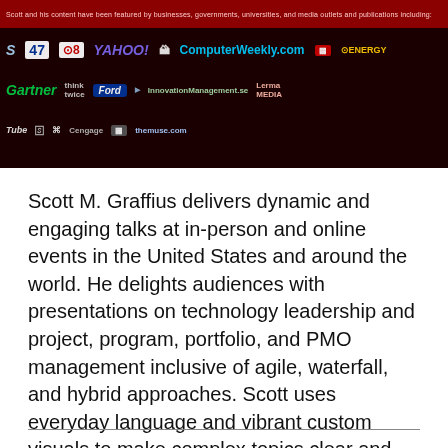[Figure (photo): Promotional banner showing a speaker photo (partially visible at top) and a collage of media/organization logos including CBS, CBS8, Yahoo!, ComputerWeekly.com, Energy, Gartner, Ford, InnovationManagement.se, and others on a dark red background.]
Scott M. Graffius delivers dynamic and engaging talks at in-person and online events in the United States and around the world. He delights audiences with presentations on technology leadership and project, program, portfolio, and PMO management inclusive of agile, waterfall, and hybrid approaches. Scott uses everyday language and vibrant custom visuals to make complex topics clear and understandable, and he provides audiences with information they can use. Check out his speaker reel (above).